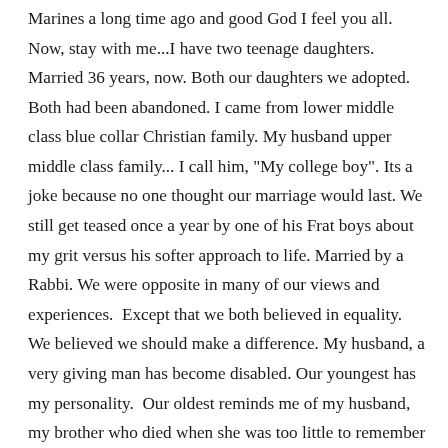Marines a long time ago and good God I feel you all. Now, stay with me...I have two teenage daughters. Married 36 years, now. Both our daughters we adopted. Both had been abandoned. I came from lower middle class blue collar Christian family. My husband upper middle class family... I call him, "My college boy". Its a joke because no one thought our marriage would last. We still get teased once a year by one of his Frat boys about my grit versus his softer approach to life. Married by a Rabbi. We were opposite in many of our views and experiences.  Except that we both believed in equality.  We believed we should make a difference. My husband, a very giving man has become disabled. Our youngest has my personality.  Our oldest reminds me of my husband, my brother who died when she was too little to remember and my husband's sister, a real Princess 😊  Our 17 year old, the Princess, she  as a junior